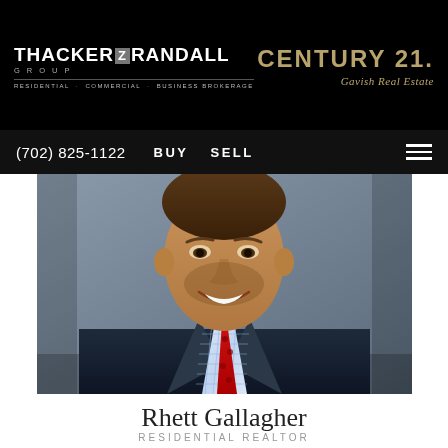THACKER & RANDALL GROUP — RESIDENTIAL · COMMERCIAL · BUSINESS BROKERAGE | CENTURY 21 Gavish Real Estate
(702) 825-1122   BUY   SELL   [menu]
[Figure (photo): Professional headshot of Rhett Gallagher, a man in a dark navy suit, blue checkered shirt, and red tie with a floral pattern, smiling against a gray background.]
Rhett Gallagher
RESIDENTIAL REALTOR